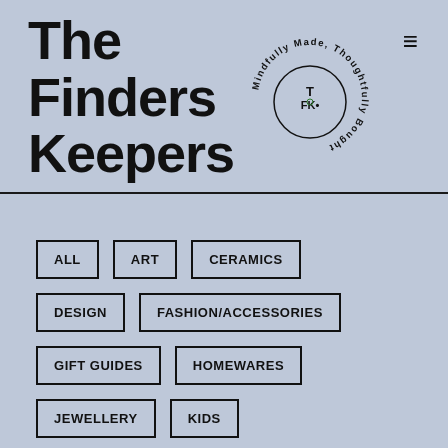The Finders Keepers
[Figure (logo): Circular logo with text 'Mindfully Made, Thoughtfully Bought' around the edge and 'FK' monogram in the center]
ALL
ART
CERAMICS
DESIGN
FASHION/ACCESSORIES
GIFT GUIDES
HOMEWARES
JEWELLERY
KIDS
PUBLICATIONS
RESOURCES